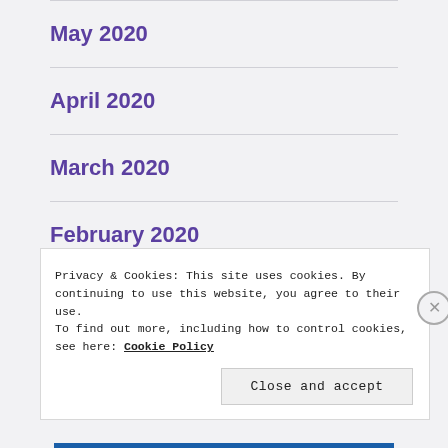May 2020
April 2020
March 2020
February 2020
January 2020
Privacy & Cookies: This site uses cookies. By continuing to use this website, you agree to their use. To find out more, including how to control cookies, see here: Cookie Policy
Close and accept